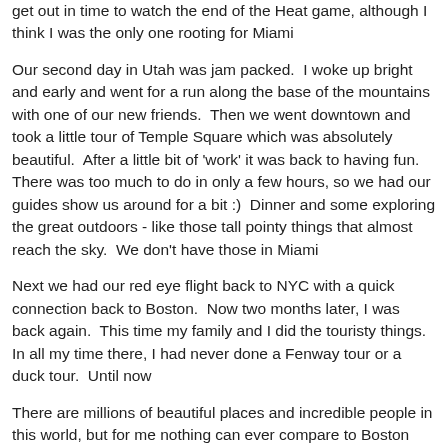get out in time to watch the end of the Heat game, although I think I was the only one rooting for Miami
Our second day in Utah was jam packed.  I woke up bright and early and went for a run along the base of the mountains with one of our new friends.  Then we went downtown and took a little tour of Temple Square which was absolutely beautiful.  After a little bit of 'work' it was back to having fun.  There was too much to do in only a few hours, so we had our guides show us around for a bit :)  Dinner and some exploring the great outdoors - like those tall pointy things that almost reach the sky.  We don't have those in Miami
Next we had our red eye flight back to NYC with a quick connection back to Boston.  Now two months later, I was back again.  This time my family and I did the touristy things.  In all my time there, I had never done a Fenway tour or a duck tour.  Until now
There are millions of beautiful places and incredible people in this world, but for me nothing can ever compare to Boston